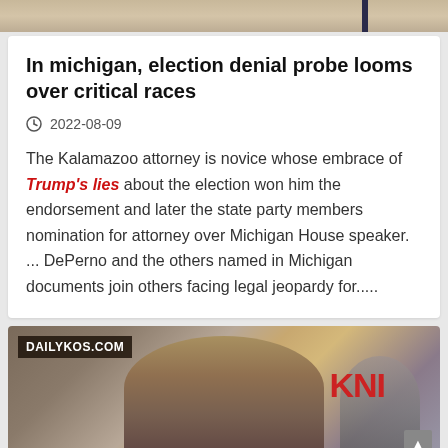[Figure (photo): Top partial image strip showing a beige/tan background with a dark vertical bar element]
In michigan, election denial probe looms over critical races
2022-08-09
The Kalamazoo attorney is novice whose embrace of Trump's lies about the election won him the endorsement and later the state party members nomination for attorney over Michigan House speaker. ... DePerno and the others named in Michigan documents join others facing legal jeopardy for.....
[Figure (photo): Photo of a man from behind/side with a bald head, with a CNN logo visible and DAILYKOS.COM banner overlay. Another person visible to the right. Background shows buildings.]